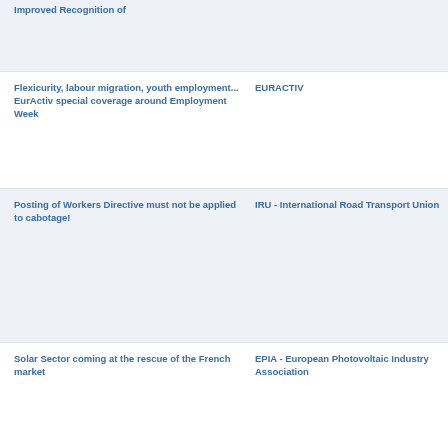Improved Recognition of
Flexicurity, labour migration, youth employment... EurActiv special coverage around Employment Week
EURACTIV
Posting of Workers Directive must not be applied to cabotage!
IRU - International Road Transport Union
Solar Sector coming at the rescue of the French market
EPIA - European Photovoltaic Industry Association